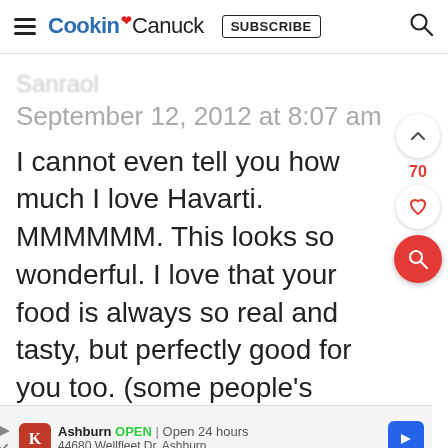Cookin' Canuck  SUBSCRIBE
September 12, 2012 at 8:07 am
I cannot even tell you how much I love Havarti. MMMMMM. This looks so wonderful. I love that your food is always so real and tasty, but perfectly good for you too. (some people's
[Figure (infographic): Ad banner: Ashburn OPEN | Open 24 hours, 44680 Wellfleet Dr, Ashburn with red K logo and blue arrow navigation icon]